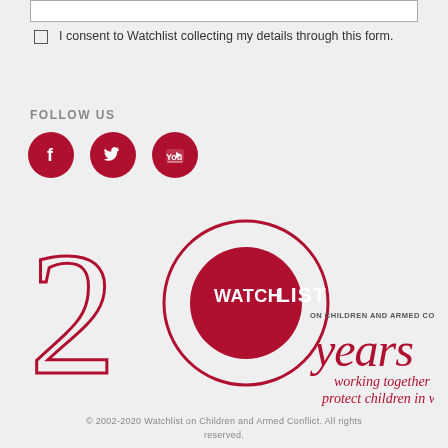I consent to Watchlist collecting my details through this form.
FOLLOW US
[Figure (logo): Three social media icons: Facebook, Twitter, and YouTube, each as a dark red circle with white icon]
[Figure (logo): Watchlist on Children and Armed Conflict 20 years logo — large '20' outline with Watchlist logo circle in center, tagline 'years working together to protect children in war']
© 2002-2020 Watchlist on Children and Armed Conflict. All rights reserved.